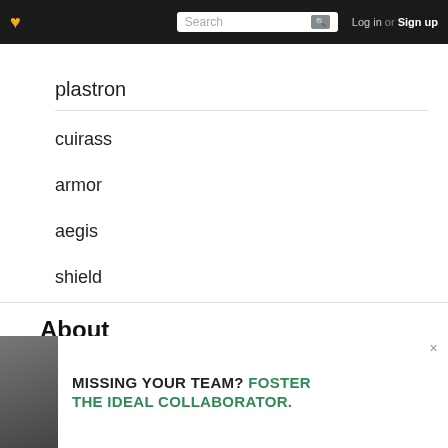Log in or Sign up
plastron
cuirass
armor
aegis
shield
About
This list has no description.
[Figure (infographic): Advertisement banner: MISSING YOUR TEAM? FOSTER THE IDEAL COLLABORATOR.]